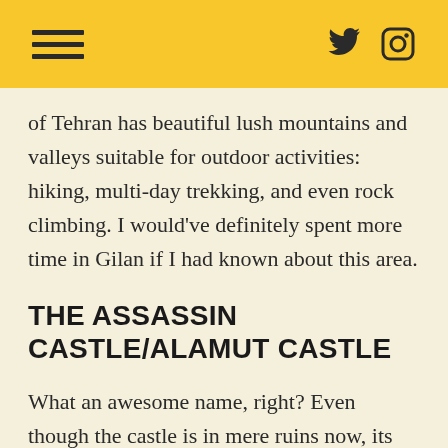of Tehran has beautiful lush mountains and valleys suitable for outdoor activities: hiking, multi-day trekking, and even rock climbing. I would've definitely spent more time in Gilan if I had known about this area.
THE ASSASSIN CASTLE/ALAMUT CASTLE
What an awesome name, right? Even though the castle is in mere ruins now, its spectacular location in Alamut Valley makes this a place worth visiting. The best way to visit the Assassin Castle is by hiring a taxi for the day